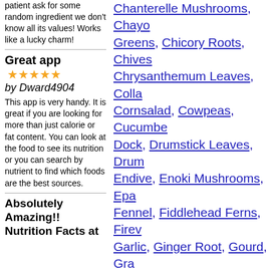patient ask for some random ingredient we don't know all its values! Works like a lucky charm!
Great app ★★★★★ by Dward4904
This app is very handy. It is great if you are looking for more than just calorie or fat content. You can look at the food to see its nutrition or you can search by nutrient to find which foods are the best sources.
Absolutely Amazing!! Nutrition Facts at
Chanterelle Mushrooms, Chayote Greens, Chicory Roots, Chives, Chrysanthemum Leaves, Collards, Cornsalad, Cowpeas, Cucumber, Dock, Drumstick Leaves, Drumstick, Endive, Enoki Mushrooms, Epazote, Fennel, Fiddlehead Ferns, Fireweed, Garlic, Ginger Root, Gourd, Grape Peppers, Hubbard Squash, Jalapeno Artichokes, Jew's Ear, Jicama, Lemon Grass, Lettuce, Lima Beans, Mushrooms, Morel Mushrooms, Beans, Mushrooms, Mustard Greens, New Zealand Spinach, Nopales, Mushrooms, Parsley, Parsnips, Pigeonpeas, Pokeberry Shoots
Nuts & Seeds
Acorns, Almonds, Beechnuts, Breadnut Seeds, Breadnut Tree Seeds, B...